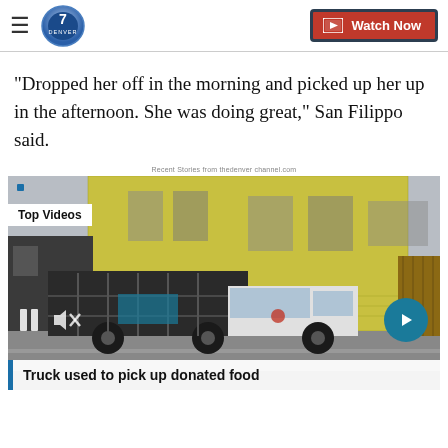Denver 7 — Watch Now
"Dropped her off in the morning and picked up her up in the afternoon. She was doing great," San Filippo said.
Recent Stories from thedenver channel.com
[Figure (screenshot): Video player showing a truck on a street with buildings. Labeled 'Top Videos'. Caption reads: Truck used to pick up donated food. Playback controls visible including pause and mute buttons and a next arrow button.]